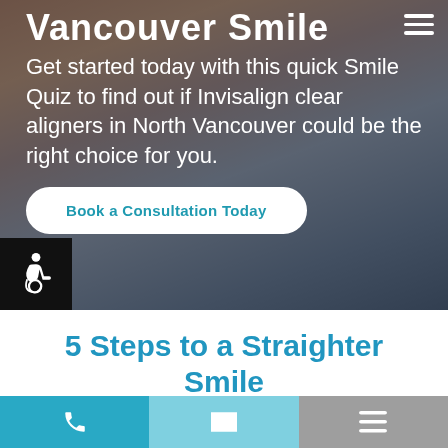[Figure (photo): Hero background photo of a person smiling, with dark overlay, partially cropped at top showing 'Vancouver Smile Quiz' title cut off]
Get started today with this quick Smile Quiz to find out if Invisalign clear aligners in North Vancouver could be the right choice for you.
Book a Consultation Today
5 Steps to a Straighter Smile
Invisalign clear aligners from Seymour